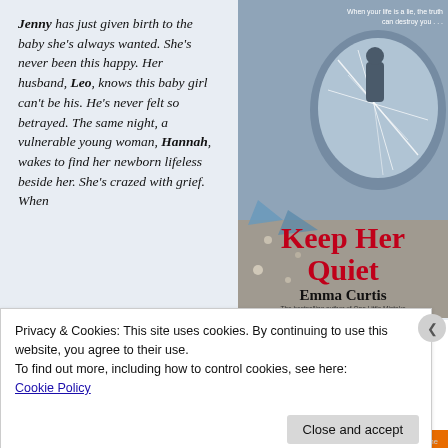Jenny has just given birth to the baby she's always wanted. She's never been this happy. Her husband, Leo, knows this baby girl can't be his. He's never felt so betrayed. The same night, a vulnerable young woman, Hannah, wakes to find her newborn lifeless beside her. She's crazed with grief. When
[Figure (illustration): Book cover for 'Keep Her Quiet' by Emma Curtis. Shows a car side mirror with a shattered reflection of a figure. Title in red, author name in black. Tagline reads 'When your life is a lie, the truth can destroy you...']
Privacy & Cookies: This site uses cookies. By continuing to use this website, you agree to their use.
To find out more, including how to control cookies, see here: Cookie Policy